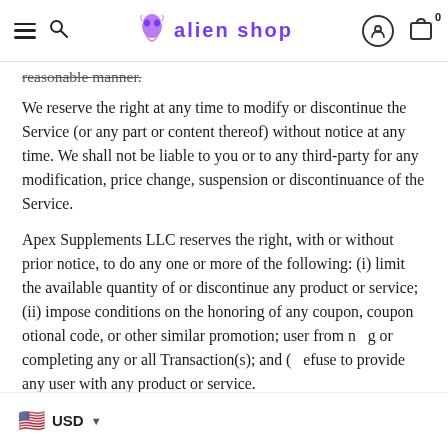alien shop
reasonable manner.
We reserve the right at any time to modify or discontinue the Service (or any part or content thereof) without notice at any time. We shall not be liable to you or to any third-party for any modification, price change, suspension or discontinuance of the Service.
Apex Supplements LLC reserves the right, with or without prior notice, to do any one or more of the following: (i) limit the available quantity of or discontinue any product or service; (ii) impose conditions on the honoring of any coupon, coupon otional code, or other similar promotion; user from n g or completing any or all Transaction(s); and ( efuse to provide any user with any product or service.